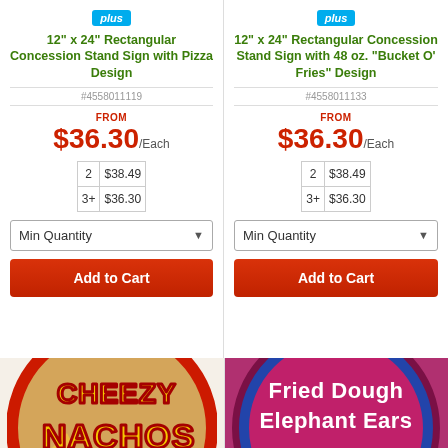[Figure (other): Plus badge icon for first product]
12" x 24" Rectangular Concession Stand Sign with Pizza Design
#4558011119
FROM $36.30/Each
| Qty | Price |
| --- | --- |
| 2 | $38.49 |
| 3+ | $36.30 |
Min Quantity
Add to Cart
[Figure (other): Plus badge icon for second product]
12" x 24" Rectangular Concession Stand Sign with 48 oz. "Bucket O' Fries" Design
#4558011133
FROM $36.30/Each
| Qty | Price |
| --- | --- |
| 2 | $38.49 |
| 3+ | $36.30 |
Min Quantity
Add to Cart
[Figure (photo): Circular sign with Cheezy Nachos design - yellow and red text on beige background with nacho chips]
[Figure (photo): Circular sign with Fried Dough Elephant Ears design - white text on pink/red background]